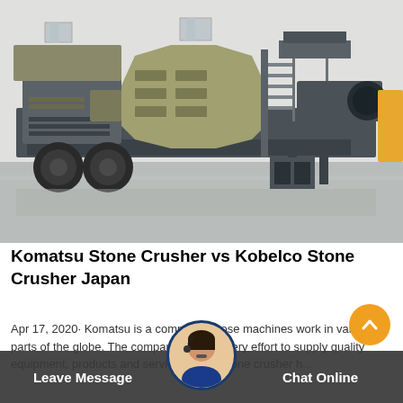[Figure (photo): Large mobile stone crusher machine (jaw crusher on wheeled chassis) parked in front of an industrial building. Machine is gray/khaki colored with multiple crusher components visible.]
Komatsu Stone Crusher vs Kobelco Stone Crusher Japan
Apr 17, 2020· Komatsu is a company whose machines work in various parts of the globe. The company makes every effort to supply quality equipment, products and services. Their stone crusher h...